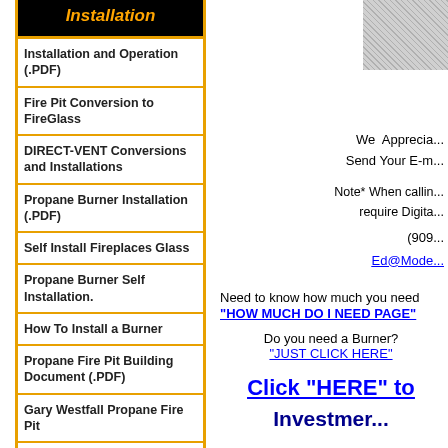Installation
Installation and Operation (.PDF)
Fire Pit Conversion to FireGlass
DIRECT-VENT Conversions and Installations
Propane Burner Installation (.PDF)
Self Install Fireplaces Glass
Propane Burner Self Installation.
How To Install a Burner
Propane Fire Pit Building Document (.PDF)
Gary Westfall Propane Fire Pit
[Figure (photo): Gray granite or stone texture image in upper right]
We Apprecia... Send Your E-m...
Note* When callin... require Digita...
(909...
Ed@Mode...
Need to know how much you need "HOW MUCH DO I NEED PAGE"
Do you need a Burner? "JUST CLICK HERE"
Click "HERE" to
Investment...